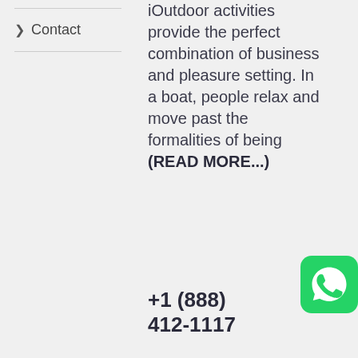> Contact
iOutdoor activities provide the perfect combination of business and pleasure setting. In a boat, people relax and move past the formalities of being (READ MORE...)
+1 (888) 412-1117
[Figure (logo): WhatsApp green icon with speech bubble and phone symbol]